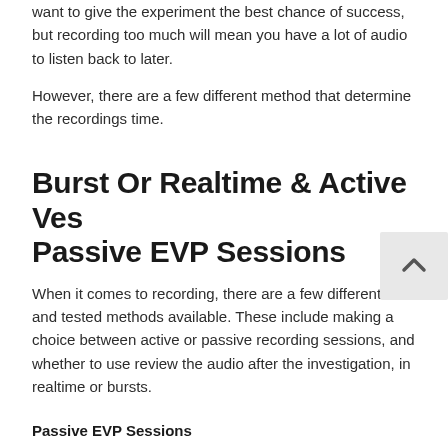want to give the experiment the best chance of success, but recording too much will mean you have a lot of audio to listen back to later.
However, there are a few different method that determine the recordings time.
Burst Or Realtime & Active Vs Passive EVP Sessions
When it comes to recording, there are a few different tried and tested methods available. These include making a choice between active or passive recording sessions, and whether to use review the audio after the investigation, in realtime or bursts.
Passive EVP Sessions
A passive EVP session is a session where the investigators conducting the experiment are not actively asking questions